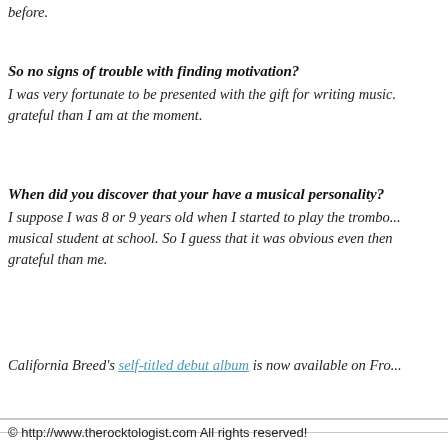before.
So no signs of trouble with finding motivation? I was very fortunate to be presented with the gift for writing music. grateful than I am at the moment.
When did you discover that your have a musical personality? I suppose I was 8 or 9 years old when I started to play the trombo... musical student at school. So I guess that it was obvious even then grateful than me.
California Breed's self-titled debut album is now available on Fro...
© http://www.therocktologist.com All rights reserved!